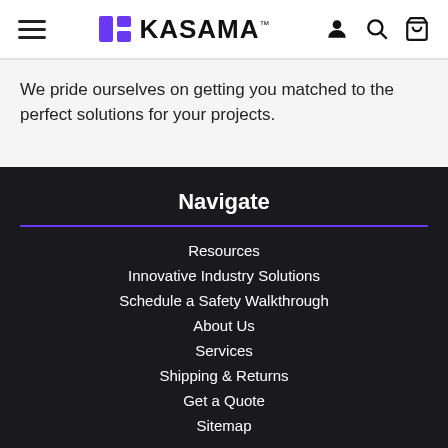KASAMA
We pride ourselves on getting you matched to the perfect solutions for your projects.
Navigate
Resources
Innovative Industry Solutions
Schedule a Safety Walkthrough
About Us
Services
Shipping & Returns
Get a Quote
Sitemap